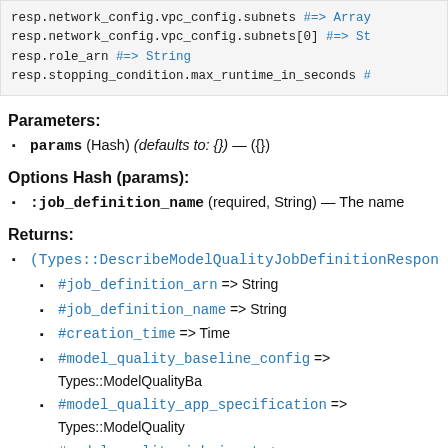[Figure (screenshot): Code block showing Ruby API response object attribute access: resp.network_config.vpc_config.subnets #=> Array, resp.network_config.vpc_config.subnets[0] #=> St, resp.role_arn #=> String, resp.stopping_condition.max_runtime_in_seconds #]
Parameters:
params (Hash) (defaults to: {}) — ({})
Options Hash (params):
:job_definition_name (required, String) — The name
Returns:
(Types::DescribeModelQualityJobDefinitionRespon
#job_definition_arn => String
#job_definition_name => String
#creation_time => Time
#model_quality_baseline_config => Types::ModelQualityBa
#model_quality_app_specification => Types::ModelQuality
#model_quality_job_input => Types::ModelQualityJobInput